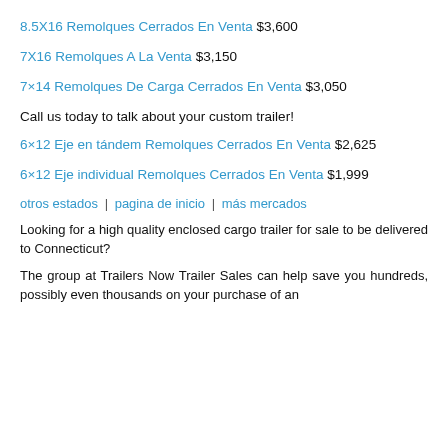8.5X16 Remolques Cerrados En Venta $3,600
7X16 Remolques A La Venta $3,150
7×14 Remolques De Carga Cerrados En Venta $3,050
Call us today to talk about your custom trailer!
6×12 Eje en tándem Remolques Cerrados En Venta $2,625
6×12 Eje individual Remolques Cerrados En Venta $1,999
otros estados | pagina de inicio | más mercados
Looking for a high quality enclosed cargo trailer for sale to be delivered to Connecticut?
The group at Trailers Now Trailer Sales can help save you hundreds, possibly even thousands on your purchase of an